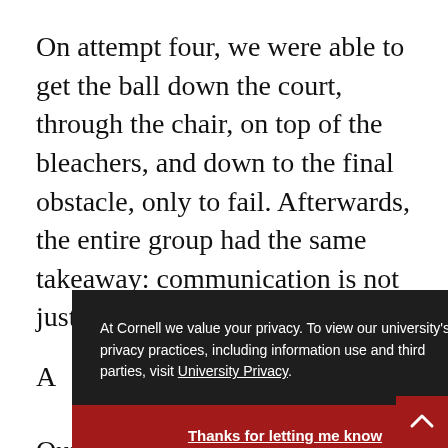On attempt four, we were able to get the ball down the court, through the chair, on top of the bleachers, and down to the final obstacle, only to fail. Afterwards, the entire group had the same takeaway: communication is not just about speaking, it is A le a su p
Our next task was to play the calculator...
At Cornell we value your privacy. To view our university's privacy practices, including information use and third parties, visit University Privacy.
Thanks for letting me know